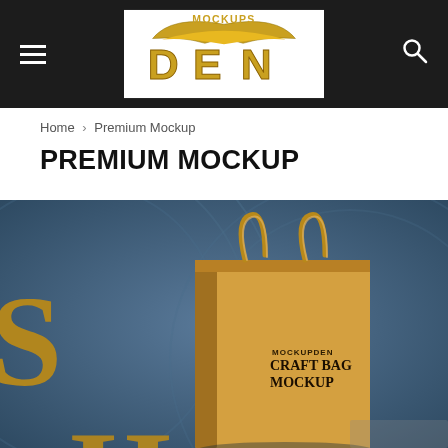Navigation header with hamburger menu, DEN Mockups logo, and search icon
Home › Premium Mockup
PREMIUM MOCKUP
[Figure (photo): A kraft paper craft shopping bag mockup with twisted rope handles, labeled 'MOCKUPDEN CRAFT BAG MOCKUP', displayed against a blue-grey circular background. Large letters 'SHO' visible on the front side of the bag.]